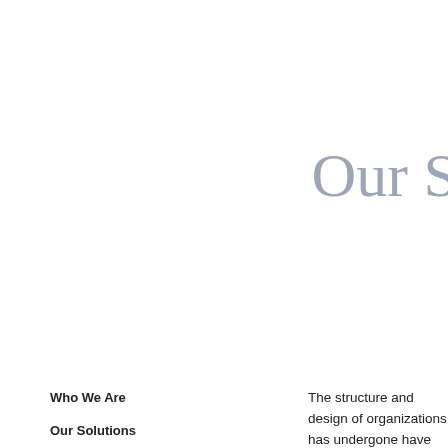Our S
Who We Are
Our Solutions
Our Products
Our Programs
News
Knowledge Sharing
Partners
Contact Us
The structure and design of organizations has undergone have been replaced by shifting partnerships and alliances deliver business results. To sustain and compete in the leadership pipeline. Therefore, organizations need to m techniques. This is where Chatur steps in. Chatur offer promotion decisions.
Why select us ?
Chatur offers a basket of Competency Based Assessme Assessment Development Centres. The data gathered f reports of the individual to arrive at the final decision m
If an employee with great talent is put in a position wh organization, in terms of money as well as demotivato